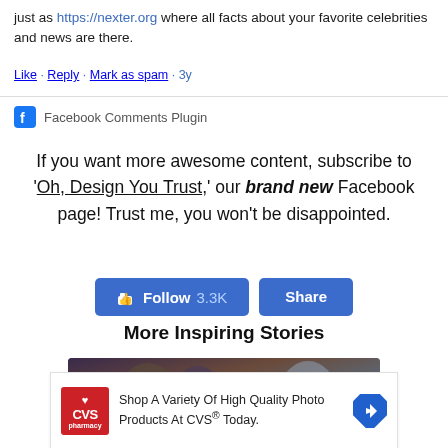just as https://nexter.org where all facts about your favorite celebrities and news are there.
Like · Reply · Mark as spam · 3y
Facebook Comments Plugin
If you want more awesome content, subscribe to 'Oh, Design You Trust,' our brand new Facebook page! Trust me, you won't be disappointed.
[Figure (other): Follow 3.3K and Share buttons]
More Inspiring Stories
[Figure (photo): Fantasy/story image banner]
[Figure (other): CVS Pharmacy advertisement: Shop A Variety Of High Quality Photo Products At CVS Today.]